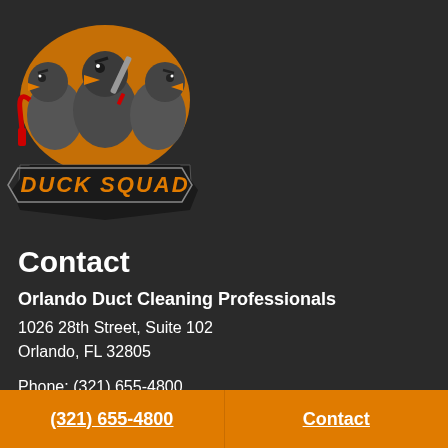[Figure (logo): Duck Squad logo featuring three cartoon ducks in grey uniforms holding cleaning tools (red pipe/hook, screwdriver), with orange and black color scheme and bold 'DUCK SQUAD' text on a banner below]
Contact
Orlando Duct Cleaning Professionals
1026 28th Street, Suite 102
Orlando, FL 32805
Phone: (321) 655-4800
(321) 655-4800    Contact